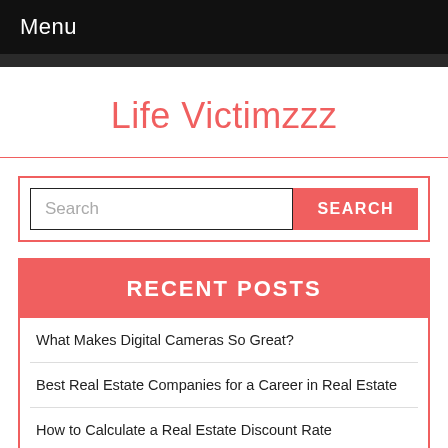Menu
Life Victimzzz
Search / SEARCH
RECENT POSTS
What Makes Digital Cameras So Great?
Best Real Estate Companies for a Career in Real Estate
How to Calculate a Real Estate Discount Rate